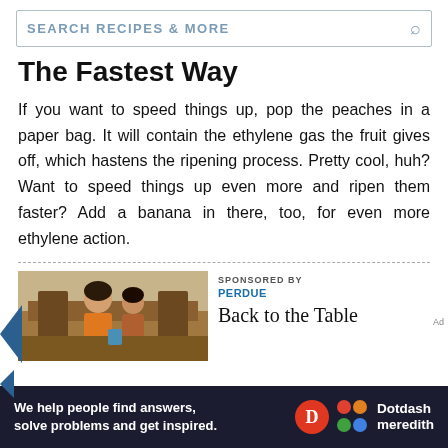SEARCH RECIPES & MORE
The Fastest Way
If you want to speed things up, pop the peaches in a paper bag. It will contain the ethylene gas the fruit gives off, which hastens the ripening process. Pretty cool, huh? Want to speed things up even more and ripen them faster? Add a banana in there, too, for even more ethylene action.
[Figure (photo): Photo of two people (child kissing woman) at a table, used in sponsored content for Perdue]
SPONSORED BY
PERDUE
Back to the Table
[Figure (logo): Dotdash Meredith logo with tagline: We help people find answers, solve problems and get inspired.]